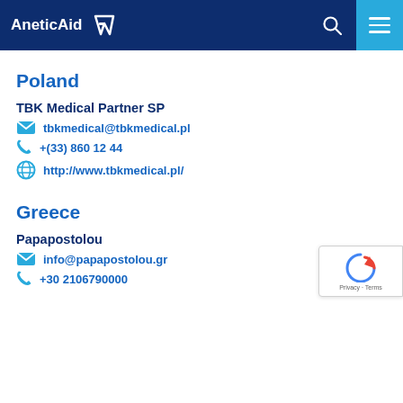AneticAid
Poland
TBK Medical Partner SP
tbkmedical@tbkmedical.pl
+(33) 860 12 44
http://www.tbkmedical.pl/
Greece
Papapostolou
info@papapostolou.gr
+30 2106790000